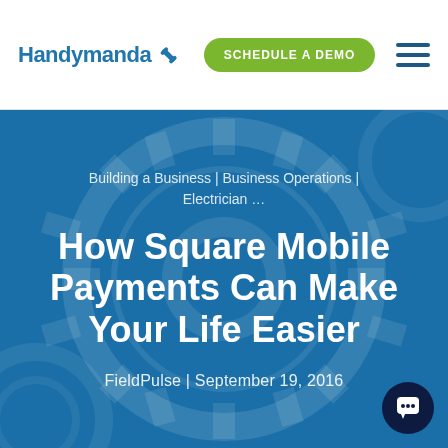Handymanda | SCHEDULE A DEMO
Building a Business | Business Operations | Electrician …
How Square Mobile Payments Can Make Your Life Easier
FieldPulse | September 19, 2016